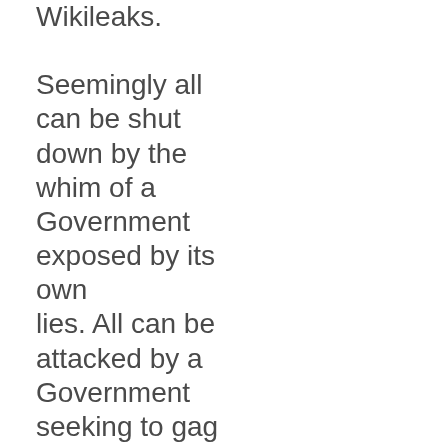Wikileaks. Seemingly all can be shut down by the whim of a Government exposed by its own lies. All can be attacked by a Government seeking to gag and inhibit the right to free speech and a free news media. Governments